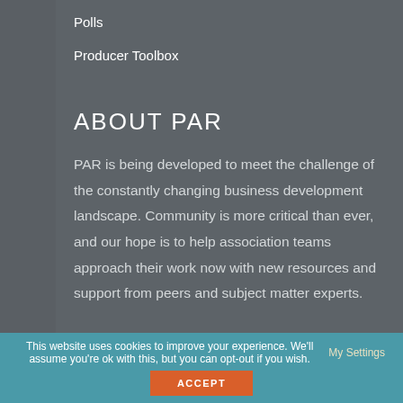Polls
Producer Toolbox
ABOUT PAR
PAR is being developed to meet the challenge of the constantly changing business development landscape. Community is more critical than ever, and our hope is to help association teams approach their work now with new resources and support from peers and subject matter experts.
This website uses cookies to improve your experience. We'll assume you're ok with this, but you can opt-out if you wish.
My Settings
ACCEPT